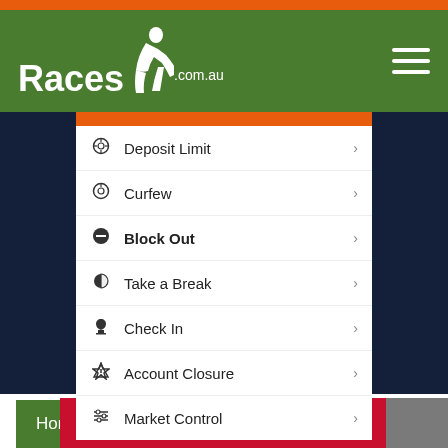[Figure (screenshot): Races.com.au website header with green navigation bar showing logo with horse jockey icon and hamburger menu]
[Figure (screenshot): Mobile phone screenshot showing a betting app menu with options: Deposit Limit, Curfew, Block Out, Take a Break, Check In, Account Closure, Market Control]
Horse Racing Odds
[Figure (screenshot): Partially visible red banner with bold italic text LADBROKES IT!]